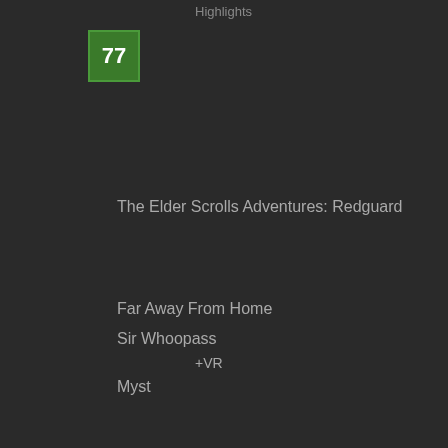Highlights
[Figure (other): Green score box showing the number 77]
The Elder Scrolls Adventures: Redguard
Far Away From Home
Sir Whoopass
+VR
Myst